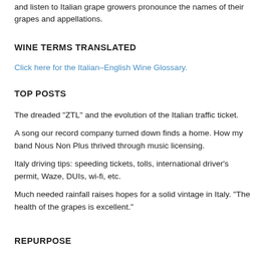and listen to Italian grape growers pronounce the names of their grapes and appellations.
WINE TERMS TRANSLATED
Click here for the Italian–English Wine Glossary.
TOP POSTS
The dreaded "ZTL" and the evolution of the Italian traffic ticket.
A song our record company turned down finds a home. How my band Nous Non Plus thrived through music licensing.
Italy driving tips: speeding tickets, tolls, international driver's permit, Waze, DUIs, wi-fi, etc.
Much needed rainfall raises hopes for a solid vintage in Italy. "The health of the grapes is excellent."
REPURPOSE